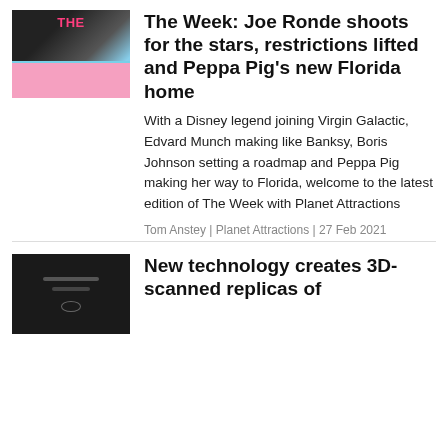[Figure (photo): Small thumbnail image of The Week magazine cover with Peppa Pig, pink and blue tones]
The Week: Joe Ronde shoots for the stars, restrictions lifted and Peppa Pig's new Florida home
With a Disney legend joining Virgin Galactic, Edvard Munch making like Banksy, Boris Johnson setting a roadmap and Peppa Pig making her way to Florida, welcome to the latest edition of The Week with Planet Attractions
Tom Anstey | Planet Attractions | 27 Feb 2021
[Figure (photo): Dark thumbnail image showing 3D scanning technology equipment in a dark setting]
New technology creates 3D-scanned replicas of